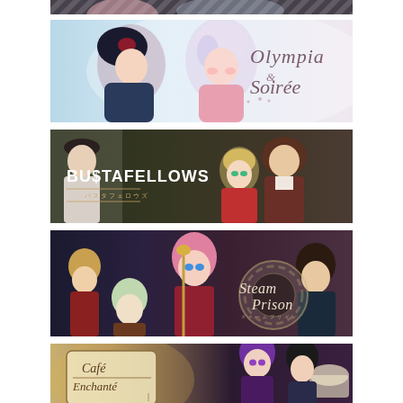[Figure (illustration): Top partial banner - anime style visual novel game art, partially cropped at top]
[Figure (illustration): Olympia Soiree - anime visual novel banner with two characters embracing, decorative logo text 'Olympia Soiree' on right side]
[Figure (illustration): BUSTAFELLOWS - dark-toned anime visual novel banner with multiple characters, white stylized text logo 'BU$TAFELLOWS' with Japanese subtitle]
[Figure (illustration): Steam Prison - steampunk anime visual novel banner with characters in red outfits, gear motif logo 'SteamPrison']
[Figure (illustration): Café Enchanté - anime visual novel banner with cafe setting, ornate script logo 'Café Enchanté', partially cropped at bottom]